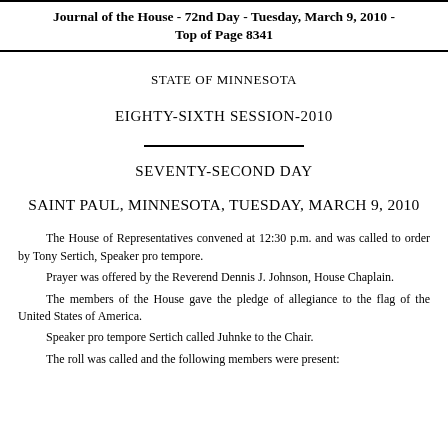Journal of the House - 72nd Day - Tuesday, March 9, 2010 - Top of Page 8341
STATE OF MINNESOTA
EIGHTY-SIXTH SESSION-2010
SEVENTY-SECOND DAY
SAINT PAUL, MINNESOTA, TUESDAY, MARCH 9, 2010
The House of Representatives convened at 12:30 p.m. and was called to order by Tony Sertich, Speaker pro tempore.
Prayer was offered by the Reverend Dennis J. Johnson, House Chaplain.
The members of the House gave the pledge of allegiance to the flag of the United States of America.
Speaker pro tempore Sertich called Juhnke to the Chair.
The roll was called and the following members were present: